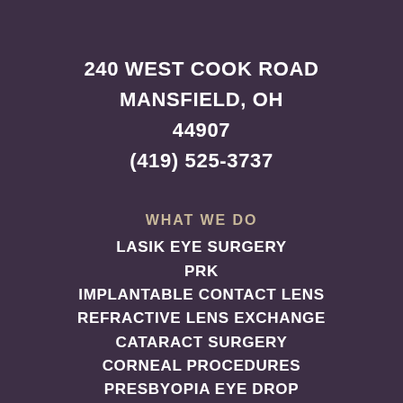240 WEST COOK ROAD
MANSFIELD, OH
44907
(419) 525-3737
WHAT WE DO
LASIK EYE SURGERY
PRK
IMPLANTABLE CONTACT LENS
REFRACTIVE LENS EXCHANGE
CATARACT SURGERY
CORNEAL PROCEDURES
PRESBYOPIA EYE DROP
INTACS